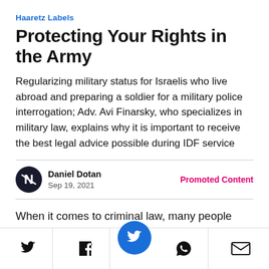Haaretz Labels
Protecting Your Rights in the Army
Regularizing military status for Israelis who live abroad and preparing a soldier for a military police interrogation; Adv. Avi Finarsky, who specializes in military law, explains why it is important to receive the best legal advice possible during IDF service
Daniel Dotan
Sep 19, 2021
Promoted Content
When it comes to criminal law, many people tend to think that the best time to contact a lawyer is at the beginning of or after the investigation. But in the